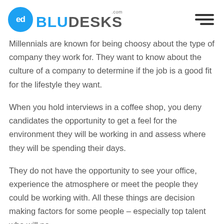BLUDESKS.com
Millennials are known for being choosy about the type of company they work for. They want to know about the culture of a company to determine if the job is a good fit for the lifestyle they want.
When you hold interviews in a coffee shop, you deny candidates the opportunity to get a feel for the environment they will be working in and assess where they will be spending their days.
They do not have the opportunity to see your office, experience the atmosphere or meet the people they could be working with. All these things are decision making factors for some people – especially top talent who will no